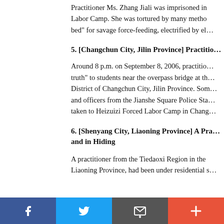Practitioner Ms. Zhang Jiali was imprisoned in Labor Camp. She was tortured by many methods: "bed" for savage force-feeding, electrified by el...
5. [Changchun City, Jilin Province] Practitio...
Around 8 p.m. on September 8, 2006, practitio... truth" to students near the overpass bridge at th... District of Changchun City, Jilin Province. Son... and officers from the Jianshe Square Police Sta... taken to Heizuizi Forced Labor Camp in Chang...
6. [Shenyang City, Liaoning Province] A Pra... and in Hiding
A practitioner from the Tiedaoxi Region in the Liaoning Province, had been under residential s...